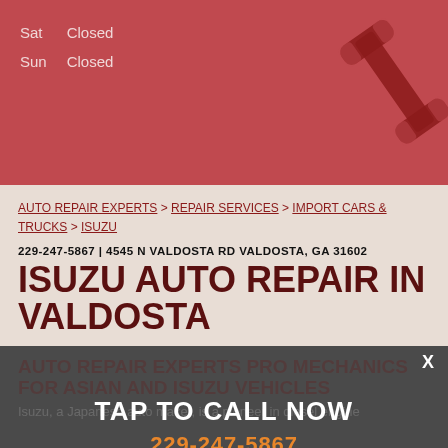| Day | Hours |
| --- | --- |
| Sat | Closed |
| Sun | Closed |
[Figure (illustration): Red wrench icon in top right corner of banner]
AUTO REPAIR EXPERTS > REPAIR SERVICES > IMPORT CARS & TRUCKS > ISUZU
229-247-5867 | 4545 N VALDOSTA RD VALDOSTA, GA 31602
ISUZU AUTO REPAIR IN VALDOSTA
AUTO REPAIR EXPERTS PRO MECHANICS FOR ASIAN AND ISUZU VEHICLES
TAP TO CALL NOW
229-247-5867
Isuzu, a Japanese auto maker, is a pioneer in diesel engine